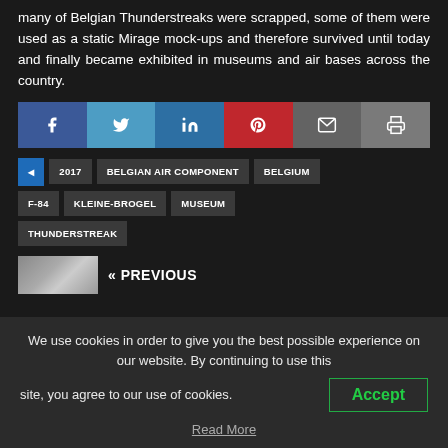many of Belgian Thunderstreaks were scrapped, some of them were used as a static Mirage mock-ups and therefore survived until today and finally became exhibited in museums and air bases across the country.
[Figure (infographic): Social media sharing buttons: Facebook (blue), Twitter (light blue), LinkedIn (blue), Pinterest (red), Email (grey), Print (grey)]
2017
BELGIAN AIR COMPONENT
BELGIUM
F-84
KLEINE-BROGEL
MUSEUM
THUNDERSTREAK
« PREVIOUS
We use cookies in order to give you the best possible experience on our website. By continuing to use this site, you agree to our use of cookies.
Accept
Read More